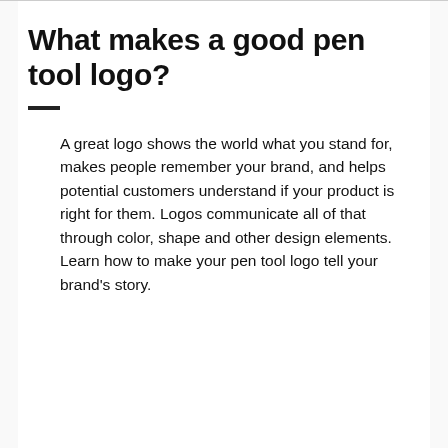What makes a good pen tool logo?
A great logo shows the world what you stand for, makes people remember your brand, and helps potential customers understand if your product is right for them. Logos communicate all of that through color, shape and other design elements. Learn how to make your pen tool logo tell your brand's story.